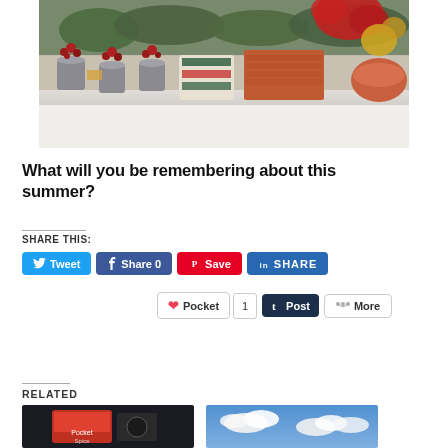[Figure (photo): Christmas/holiday merchandise display: small metal buckets with red berries, stacked red/brown ceramic dishes, red poinsettia, metallic gold decorations on a retail shelf]
What will you be remembering about this summer?
SHARE THIS:
Tweet | Share 0 | Save | SHARE | Pocket 1 | Post | More
RELATED
[Figure (photo): Related article thumbnail: package/box with dark background]
[Figure (photo): Related article thumbnail: blue sky with white clouds]